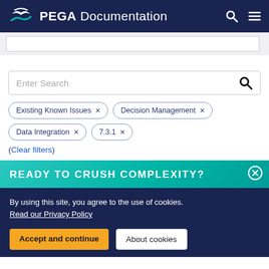PEGA Documentation
[Figure (screenshot): Search bar input area at top of page]
[Figure (screenshot): Enter Search input box with magnifying glass icon]
Existing Known Issues ×
Decision Management ×
Data Integration ×
7.3.1 ×
(Clear filters)
READY TO CRUSH COMPLEXITY?
By using this site, you agree to the use of cookies.
Read our Privacy Policy
Accept and continue
About cookies